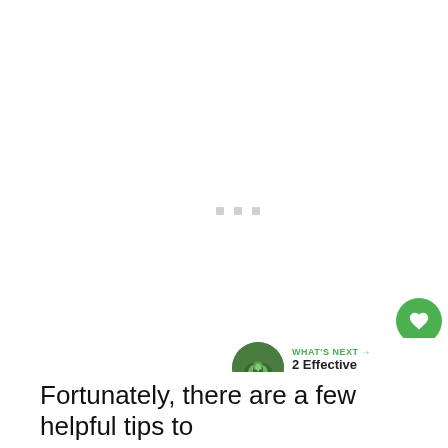[Figure (other): Large white/blank content area with three small gray square loading indicator dots centered horizontally near middle of the area]
[Figure (infographic): UI sidebar with green heart/like button, count of 49, and white share button with network icon]
[Figure (infographic): What's Next card showing a circular green herb/plant thumbnail image with label 'WHAT'S NEXT →' and title '2 Effective Methods to...']
Fortunately, there are a few helpful tips to